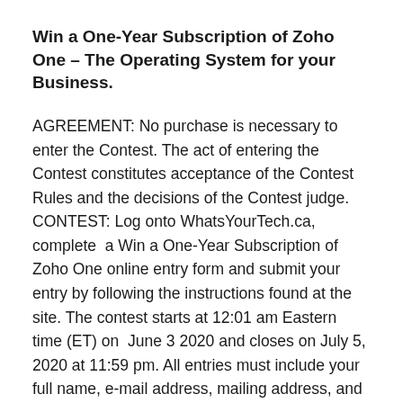Win a One-Year Subscription of Zoho One – The Operating System for your Business.
AGREEMENT: No purchase is necessary to enter the Contest. The act of entering the Contest constitutes acceptance of the Contest Rules and the decisions of the Contest judge. CONTEST: Log onto WhatsYourTech.ca, complete  a Win a One-Year Subscription of Zoho One online entry form and submit your entry by following the instructions found at the site. The contest starts at 12:01 am Eastern time (ET) on  June 3 2020 and closes on July 5, 2020 at 11:59 pm. All entries must include your full name, e-mail address, mailing address, and ten-digit telephone number. One entry per person. Entries received on-line shall be deemed to be submitted by the authorized account holder of the e-mail address submitted at the time of entry. "Subscriber" is defined as the natural person who has registered for